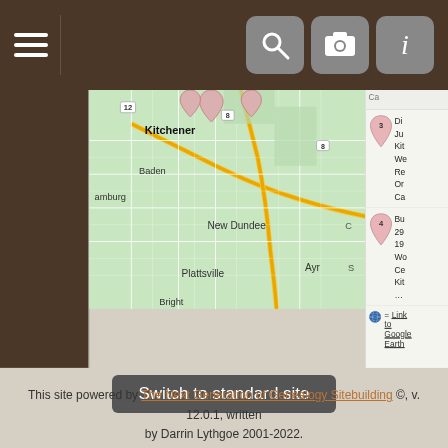[Figure (screenshot): Mobile genealogy website showing a Google Maps view centered on the Kitchener/Baden/New Dundee/Plattsville/Ayr/Bright area in Ontario, Canada, with pink map pins numbered 3 and 4, and a right sidebar with truncated location entries and a Google Earth link. Top navigation bar with hamburger menu and search/camera/info icon buttons.]
Switch to standard site
This site powered by The Next Generation of Genealogy Sitebuilding ©, v. 12.0.1, written by Darrin Lythgoe 2001-2022.